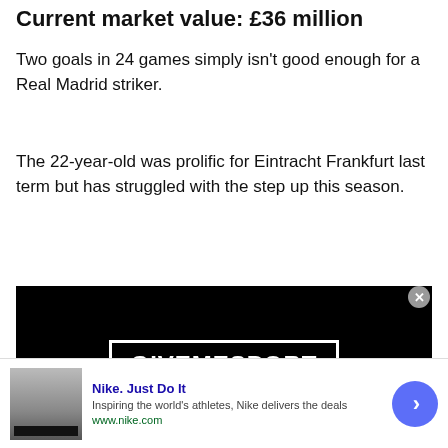Current market value: £36 million
Two goals in 24 games simply isn't good enough for a Real Madrid striker.
The 22-year-old was prolific for Eintracht Frankfurt last term but has struggled with the step up this season.
[Figure (screenshot): Black video player showing GIVEMESPORT logo in white on black background with white border rectangle]
[Figure (infographic): Nike advertisement banner: Nike. Just Do It — Inspiring the world's athletes, Nike delivers the deals — www.nike.com — with thumbnail image and blue circular arrow button]